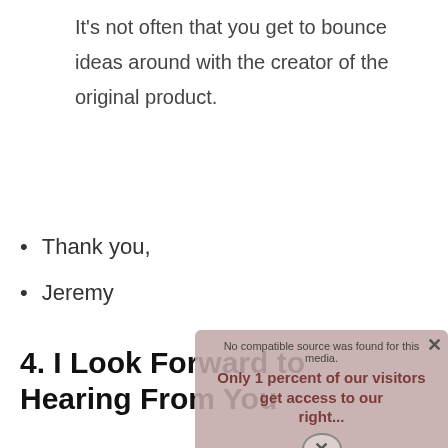It's not often that you get to bounce ideas around with the creator of the original product.
Thank you,
Jeremy
4. I Look Forward to Hearing From You
“I look forward to hearing from you” is a great choice in many cases. It shows